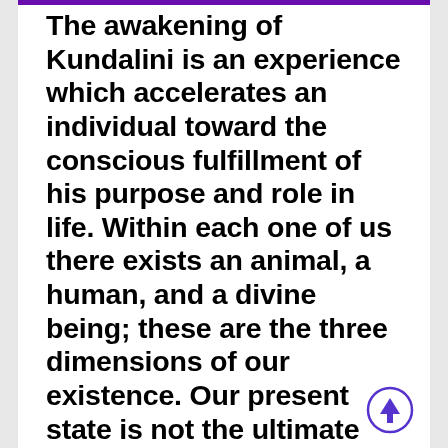The awakening of Kundalini is an experience which accelerates an individual toward the conscious fulfillment of his purpose and role in life. Within each one of us there exists an animal, a human, and a divine being; these are the three dimensions of our existence. Our present state is not the ultimate one; we stand at an intermediate stage or platform.  For centuries man has been living in one restricted frame of mind and because of this limitation evolution came virtually to a standstill.  Only now are the